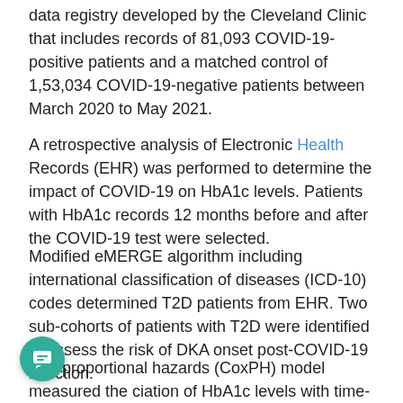data registry developed by the Cleveland Clinic that includes records of 81,093 COVID-19-positive patients and a matched control of 1,53,034 COVID-19-negative patients between March 2020 to May 2021.
A retrospective analysis of Electronic Health Records (EHR) was performed to determine the impact of COVID-19 on HbA1c levels. Patients with HbA1c records 12 months before and after the COVID-19 test were selected.
Modified eMERGE algorithm including international classification of diseases (ICD-10) codes determined T2D patients from EHR. Two sub-cohorts of patients with T2D were identified to assess the risk of DKA onset post-COVID-19 infection.
Cox proportional hazards (CoxPH) model measured the association of HbA1c levels with time-to-hospitalization, ventilation, assisted breathing, intensive care unit (ICU)